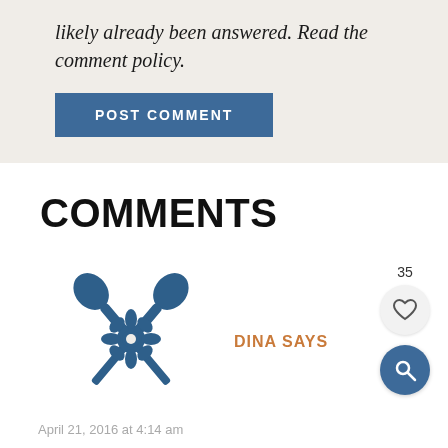likely already been answered. Read the comment policy.
POST COMMENT
COMMENTS
[Figure (logo): Blue decorative crossed fork and spoon with floral pattern logo icon]
DINA SAYS
April 21, 2016 at 4:14 am
I think Parmesan isn't kosher (it is made with